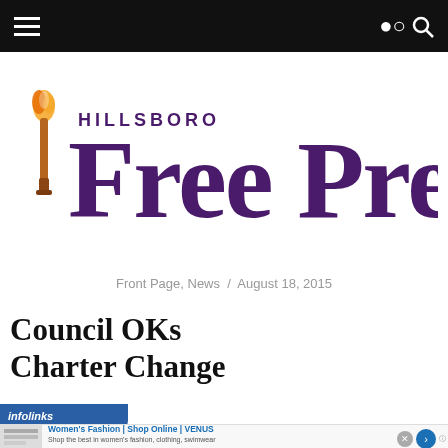Navigation bar with hamburger menu and search icon
[Figure (logo): Hillsboro Free Press logo with torch icon and purple serif text reading 'HILLSBORO Free Press']
Front Page, News  /  August 18, 2015
Council OKs Charter Change
[Figure (infographic): Infolinks ad banner at bottom: Women's Fashion | Shop Online | VENUS. Shop the best in women's fashion, clothing, swimwear. venus.com]